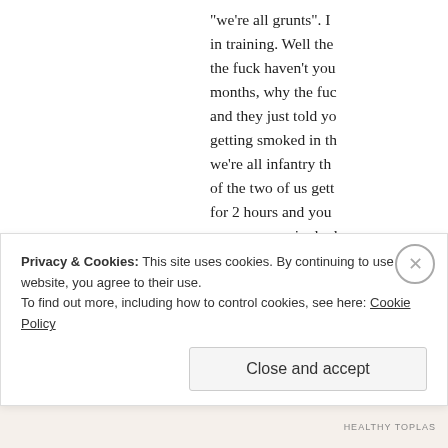“we’re all grunts”. I in training. Well the the fuck haven’t you months, why the fuc and they just told yo getting smoked in th we’re all infantry th of the two of us gett for 2 hours and you years, every single d going to tell me that that you’re fucking not infantry. I want ar
Privacy & Cookies: This site uses cookies. By continuing to use this website, you agree to their use. To find out more, including how to control cookies, see here: Cookie Policy
Close and accept
HEALTHY TOPLAS